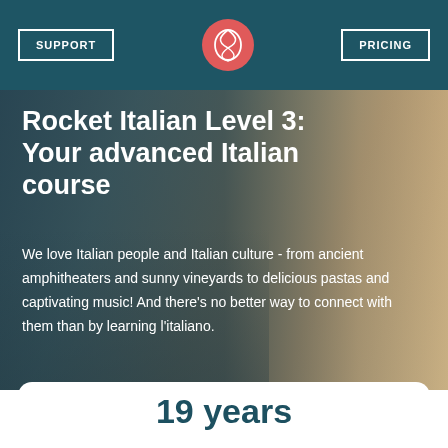SUPPORT | [logo] | PRICING
Rocket Italian Level 3: Your advanced Italian course
We love Italian people and Italian culture - from ancient amphitheaters and sunny vineyards to delicious pastas and captivating music! And there's no better way to connect with them than by learning l'italiano.
[Figure (photo): Background photo of a woman in a straw hat and striped shirt, with ancient Roman architecture (arches) in the background, warm sunny lighting.]
19 years